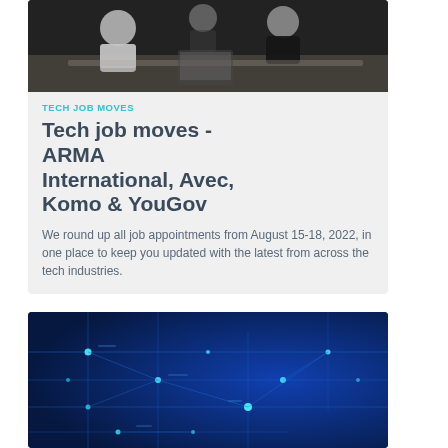[Figure (photo): Business meeting photo showing people at a table, black and white/dark tones]
TECH JOB MOVES
Tech job moves - ARMA International, Avec, Komo & YouGov
We round up all job appointments from August 15-18, 2022, in one place to keep you updated with the latest from across the tech industries.
[Figure (photo): Blue technology circuit board background with glowing nodes and lines]